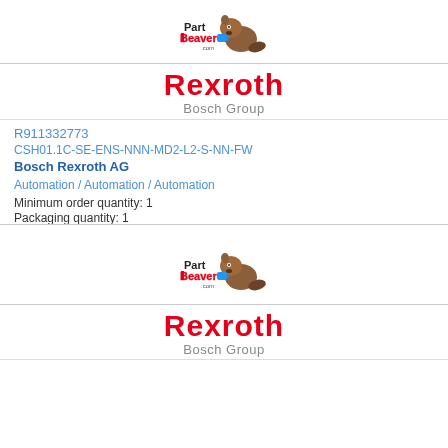[Figure (logo): PartBeaver.com logo with beaver mascot - top]
Rexroth Bosch Group
R911332773
CSH01.1C-SE-ENS-NNN-MD2-L2-S-NN-FW
Bosch Rexroth AG
Automation / Automation / Automation
Minimum order quantity: 1
Packaging quantity: 1
Lead time: On request
REQUEST QUOTE
[Figure (logo): PartBeaver.com logo with beaver mascot - bottom]
Rexroth Bosch Group